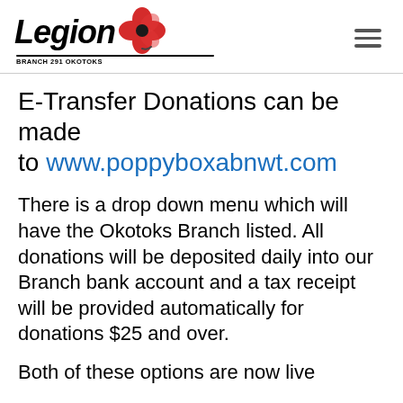Legion Branch 291 Okotoks
E-Transfer Donations can be made to www.poppyboxabnwt.com
There is a drop down menu which will have the Okotoks Branch listed. All donations will be deposited daily into our Branch bank account and a tax receipt will be provided automatically for donations $25 and over.
Both of these options are now live